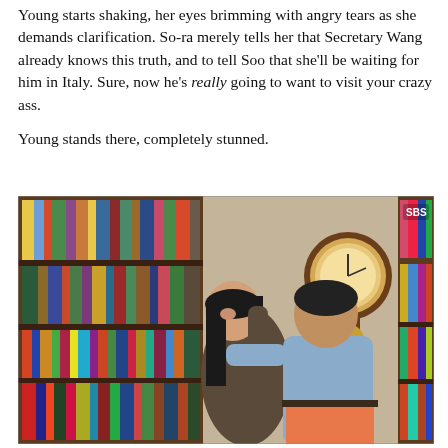Young starts shaking, her eyes brimming with angry tears as she demands clarification. So-ra merely tells her that Secretary Wang already knows this truth, and to tell Soo that she'll be waiting for him in Italy. Sure, now he's really going to want to visit your crazy ass.

Young stands there, completely stunned.
[Figure (photo): A screenshot from a Korean drama (SBS). Two people are in a library/study room with bookshelves filled with colorful books on either side. A wall-mounted antique pendulum clock is visible in the background on a beige wall. One person (a woman with long dark hair) is pressed against the bookshelf while a man in a light blue shirt faces her with his back to the camera. The SBS logo appears in the upper right corner of the image.]